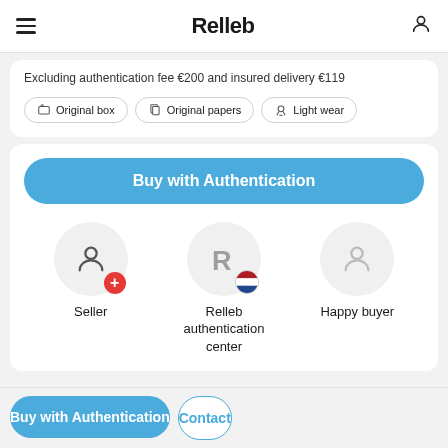Relleb
Excluding authentication fee €200 and insured delivery €119
Original box
Original papers
Light wear
Buy with Authentication
Seller
Relleb authentication center
Happy buyer
Buy with Authentication
Contact